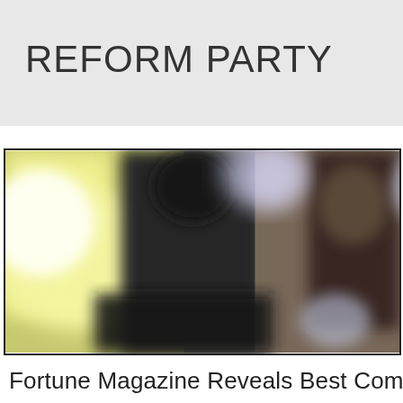REFORM PARTY
[Figure (photo): Blurred photograph of people in dark clothing, likely at a professional or political event. Background shows blurred yellow-green and white tones with bokeh effect.]
Fortune Magazine Reveals Best Companie